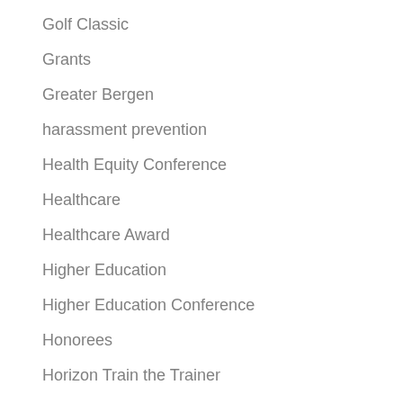Golf Classic
Grants
Greater Bergen
harassment prevention
Health Equity Conference
Healthcare
Healthcare Award
Higher Education
Higher Education Conference
Honorees
Horizon Train the Trainer
Hudson County Chapter
Humanitarian Awards